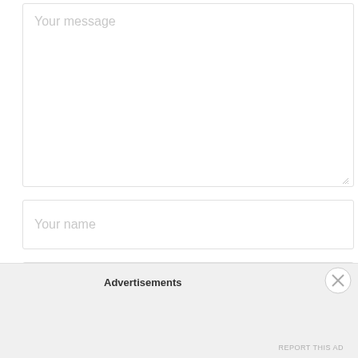[Figure (screenshot): Textarea input field with placeholder text 'Your message']
[Figure (screenshot): Text input field with placeholder text 'Your name']
[Figure (screenshot): Text input field with placeholder text 'Your email (will not be published)']
Advertisements
REPORT THIS AD